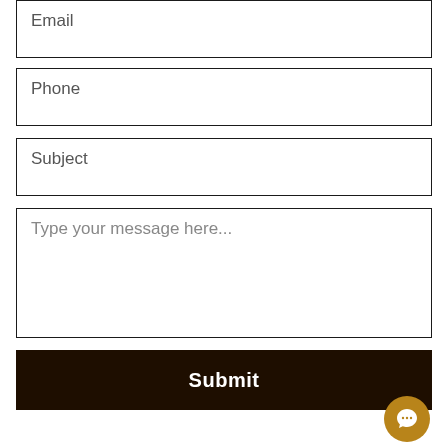Email
Phone
Subject
Type your message here...
Submit